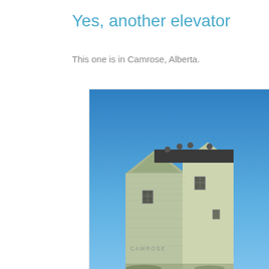Yes, another elevator
This one is in Camrose, Alberta.
[Figure (photo): Photograph of a grain elevator building in Camrose, Alberta. The structure is a large wooden building with a peaked roof against a clear blue sky. The word CAMROSE is painted on the side of the building.]